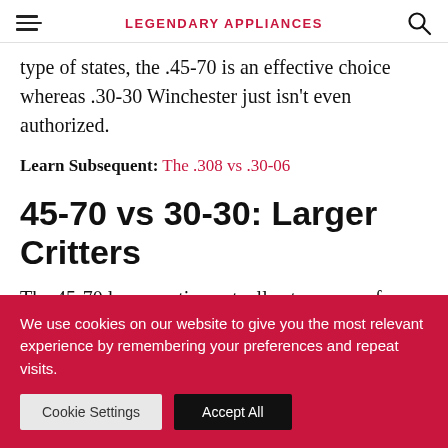LEGENDARY APPLIANCES
type of states, the .45-70 is an effective choice whereas .30-30 Winchester just isn't even authorized.
Learn Subsequent: The .308 vs .30-06
45-70 vs 30-30: Larger Critters
The 45-70 lever motion actually steps away from the .30-30 Winchester when it comes time for bigger
We use cookies on our website to give you the most relevant experience by remembering your preferences and repeat visits.